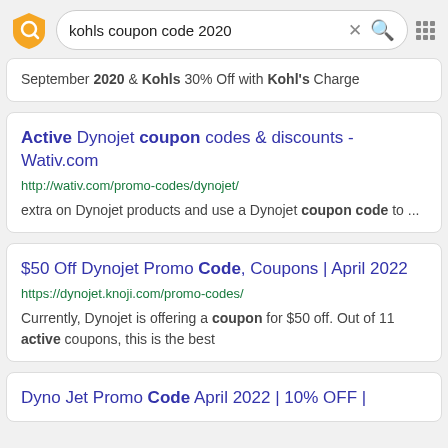[Figure (screenshot): Search bar with shield/lock browser extension icon on left, search query 'kohls coupon code 2020', X clear button, red magnifying glass search button, and grid icon on right]
September 2020 & Kohls 30% Off with Kohl's Charge
Active Dynojet coupon codes & discounts - Wativ.com
http://wativ.com/promo-codes/dynojet/
extra on Dynojet products and use a Dynojet coupon code to ...
$50 Off Dynojet Promo Code, Coupons | April 2022
https://dynojet.knoji.com/promo-codes/
Currently, Dynojet is offering a coupon for $50 off. Out of 11 active coupons, this is the best
Dyno Jet Promo Code April 2022 | 10% OFF |